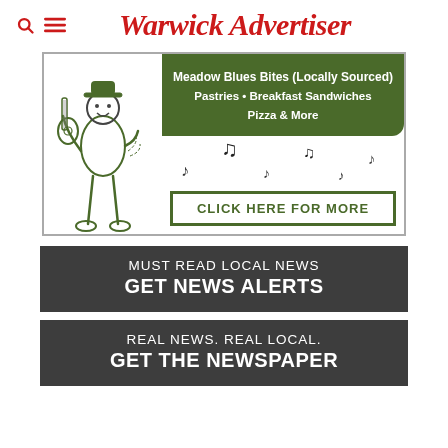Warwick Advertiser
[Figure (illustration): Advertisement banner for Meadow Blues Bites with a guitarist illustration, music notes, green text box with menu items, and a 'CLICK HERE FOR MORE' button.]
[Figure (infographic): Dark grey call-to-action button: 'MUST READ LOCAL NEWS / GET NEWS ALERTS']
[Figure (infographic): Dark grey call-to-action button: 'REAL NEWS. REAL LOCAL. / GET THE NEWSPAPER']